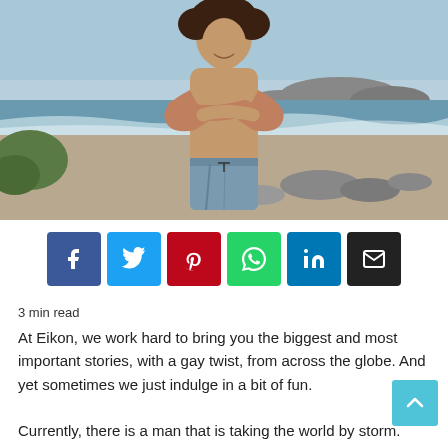[Figure (photo): Shirtless man with curly hair standing on a beach with arms crossed, smiling. Rocky coastline and ocean in the background.]
3 min read
At Eikon, we work hard to bring you the biggest and most important stories, with a gay twist, from across the globe. And yet sometimes we just indulge in a bit of fun.

Currently, there is a man that is taking the world by storm. He's